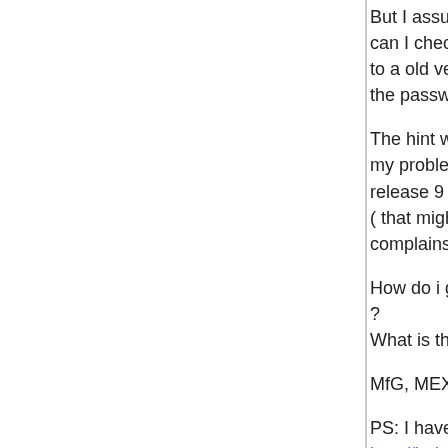But I assume that I made a fault with the link, how can I check that the link is correct ( maybe he points to a old version of the file as I used gedit to change the password later ) ?
The hint with SElinux has a high propability to solve my problem, isn't SElinux new to Fedora since release 9 ?
( that might be the reason that I am the first who complains about this )
How do i give the boinc group access to port 31416 ?
What is this port used for ?
MfG, MEX
PS: I have edited http://boinc.berkeley.edu/wiki/Installing_on_Linux#Fedora_7_and_up to add your hint, and moved the start of the